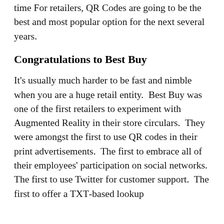time For retailers, QR Codes are going to be the best and most popular option for the next several years.
Congratulations to Best Buy
It's usually much harder to be fast and nimble when you are a huge retail entity.  Best Buy was one of the first retailers to experiment with Augmented Reality in their store circulars.  They were amongst the first to use QR codes in their print advertisements.  The first to embrace all of their employees' participation on social networks.  The first to use Twitter for customer support.  The first to offer a TXT -based lookup